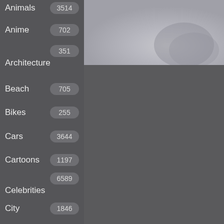Animals 3514
Anime 702
Architecture 351
Beach 705
Bikes 255
Cars 3644
Cartoons 1197
Celebrities 6589
City 1846
Computers 312
Fantasy 473
Flowers 2854
[Figure (photo): A partially visible photo in the upper right area, showing a light grey/white blurry image, possibly a sky or abstract background.]